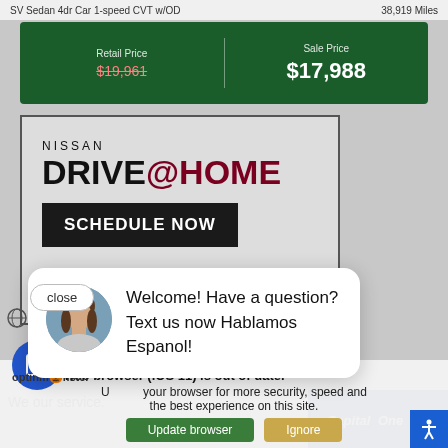SV Sedan 4dr Car 1-speed CVT w/OD
38,919 Miles
| Retail Price | Sale Price |
| --- | --- |
| $19,961 | $17,988 |
[Figure (screenshot): Nissan Drive@Home advertisement with SCHEDULE NOW button]
close
Welcome! Have a question? Text us now Hablamos Espanol!
[Figure (logo): Capital One logo with red arrow]
Your web browser (iOS 11) is out of date.
Update your browser for more security, speed and the best experience on this site.
Update browser
Ignore
optinmonster